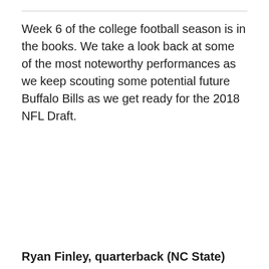Week 6 of the college football season is in the books. We take a look back at some of the most noteworthy performances as we keep scouting some potential future Buffalo Bills as we get ready for the 2018 NFL Draft.
Ryan Finley, quarterback (NC State)